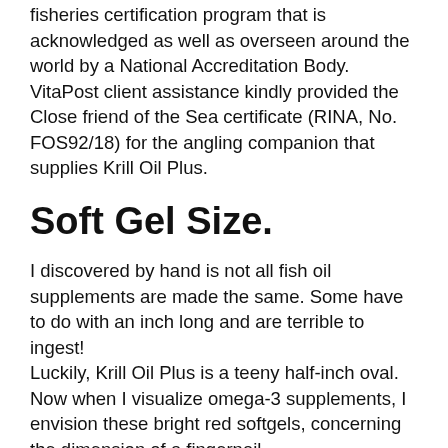fisheries certification program that is acknowledged as well as overseen around the world by a National Accreditation Body. VitaPost client assistance kindly provided the Close friend of the Sea certificate (RINA, No. FOS92/18) for the angling companion that supplies Krill Oil Plus.
Soft Gel Size.
I discovered by hand is not all fish oil supplements are made the same. Some have to do with an inch long and are terrible to ingest!
Luckily, Krill Oil Plus is a teeny half-inch oval. Now when I visualize omega-3 supplements, I envision these bright red softgels, concerning the dimension of a fingernail